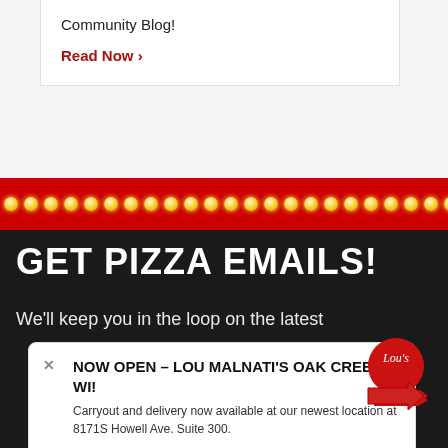Community Blog!
Read Now ›
[Figure (other): Red marquee light border band with yellow bulb lights]
GET PIZZA EMAILS!
We'll keep you in the loop on the latest
NOW OPEN – LOU MALNATI'S OAK CREEK, WI! Carryout and delivery now available at our newest location at 8171S Howell Ave. Suite 300.
FIND MY LOCATION